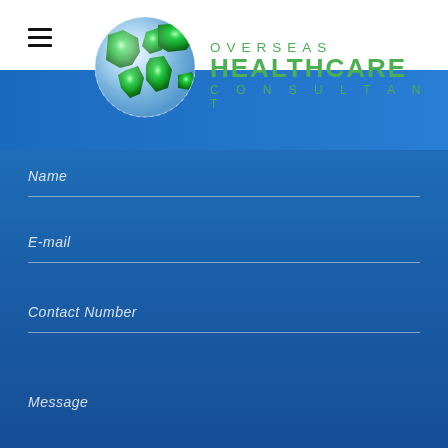[Figure (logo): Overseas Healthcare Consultant logo with globe and green text]
Name
E-mail
Contact Number
Message